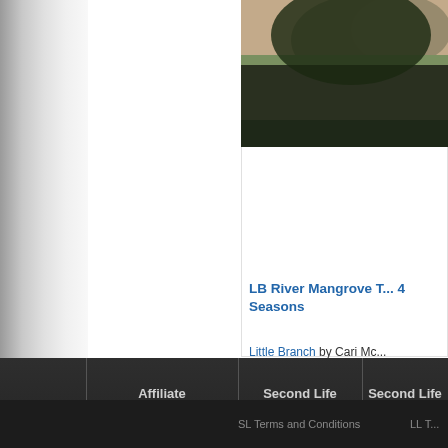[Figure (screenshot): Screenshot of a Second Life Marketplace product listing page. Shows a product card for 'LB River Mangrove T... 4 Seasons' by Little Branch by Cari Mc... with a 3-star rating (8 Reviews). The page has a dark footer with navigation links: Affiliate Program, Second Life Marketplace, Second Life Blogs. Footer bottom shows 'SL Terms and Conditions' and 'LL T...']